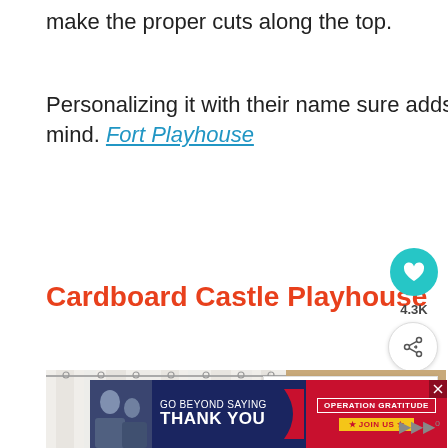make the proper cuts along the top.
Personalizing it with their name sure adds to the enjoyment, so be sure to keep that idea in mind. Fort Playhouse
Cardboard Castle Playhouse
[Figure (photo): Photo showing white curtains against a beige/tan wall, partially obscured.]
[Figure (infographic): WHAT'S NEXT panel showing DIY Play Kitchens for...]
[Figure (infographic): Advertisement banner: GO BEYOND SAYING THANK YOU — OPERATION GRATITUDE — JOIN US]